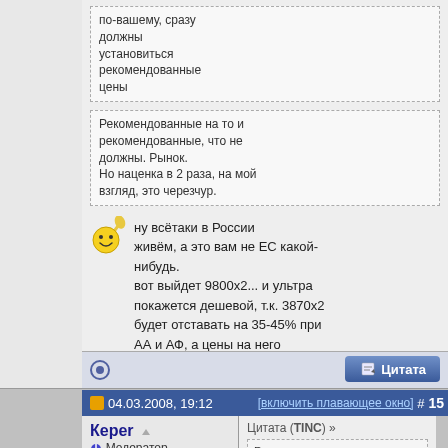по-вашему, сразу должны установиться рекомендованные цены
Рекомендованные на то и рекомендованные, что не должны. Рынок.
Но наценка в 2 раза, на мой взгляд, это черезчур.
ну всётаки в России живём, а это вам не ЕС какой-нибудь.
вот выйдет 9800x2... и ультра покажется дешевой, т.к. 3870х2 будет отставать на 35-45% при АА и АФ, а цены на него начинаются с 500$.
04.03.2008, 19:12    [включить плавающее окно]  #15
Кереr
Модератор
Цитата (TINC) »
Рекомендованные на то и рекомендованные, что не должны. Рынок.